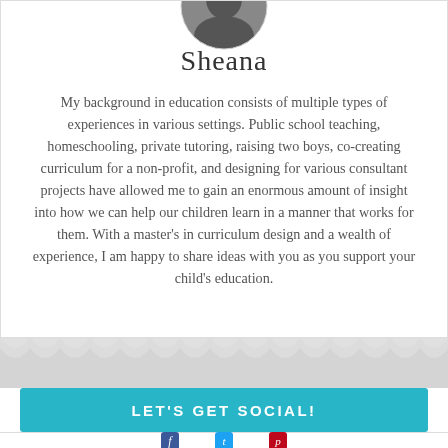[Figure (photo): Circular profile photo of Sheana, partially cropped at top of card]
Sheana
My background in education consists of multiple types of experiences in various settings. Public school teaching, homeschooling, private tutoring, raising two boys, co-creating curriculum for a non-profit, and designing for various consultant projects have allowed me to gain an enormous amount of insight into how we can help our children learn in a manner that works for them. With a master's in curriculum design and a wealth of experience, I am happy to share ideas with you as you support your child's education.
LET'S GET SOCIAL!
[Figure (illustration): Social media icons for Facebook, Twitter, and Pinterest partially visible at bottom]